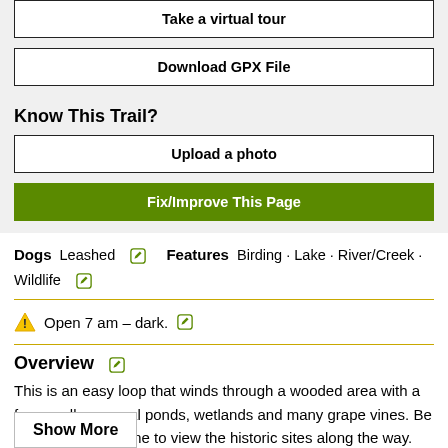Take a virtual tour
Download GPX File
Know This Trail?
Upload a photo
Fix/Improve This Page
Dogs  Leashed   Features  Birding · Lake · River/Creek · Wildlife
Open 7 am - dark.
Overview
This is an easy loop that winds through a wooded area with a few small seasonal ponds, wetlands and many grape vines. Be sure to take the time to view the historic sites along the way.
Need to Know
The trail on top of the Impoundment is narrow and although well established and easy to follow, may have significant thorn growth. It is also subject to flooding (see the historic sites...